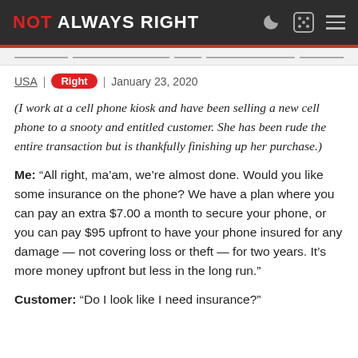NOT ALWAYS RIGHT
USA | Right | January 23, 2020
(I work at a cell phone kiosk and have been selling a new cell phone to a snooty and entitled customer. She has been rude the entire transaction but is thankfully finishing up her purchase.)
Me: “All right, ma’am, we’re almost done. Would you like some insurance on the phone? We have a plan where you can pay an extra $7.00 a month to secure your phone, or you can pay $95 upfront to have your phone insured for any damage — not covering loss or theft — for two years. It’s more money upfront but less in the long run.”
Customer: “Do I look like I need insurance?”